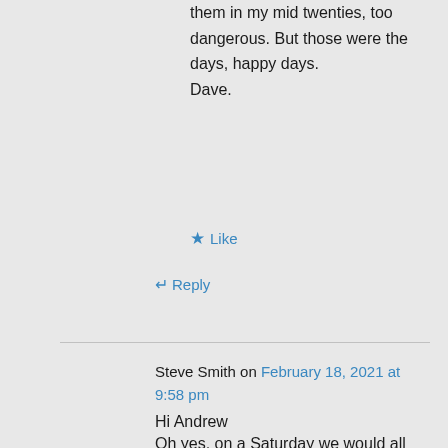them in my mid twenties, too dangerous. But those were the days, happy days.
Dave.
★ Like
↵ Reply
Steve Smith on February 18, 2021 at 9:58 pm
Hi Andrew
Oh yes, on a Saturday we would all